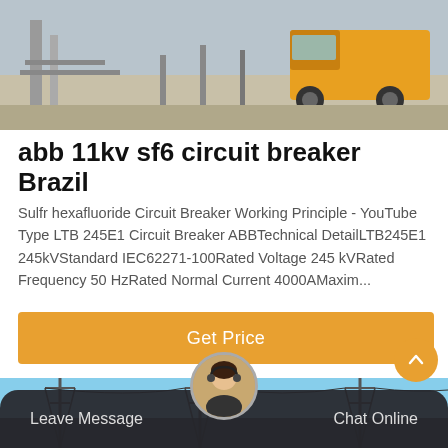[Figure (photo): Construction site photo showing equipment and a yellow truck in the background]
abb 11kv sf6 circuit breaker Brazil
Sulfr hexafluoride Circuit Breaker Working Principle - YouTube Type LTB 245E1 Circuit Breaker ABBTechnical DetailLTB245E1 245kVStandard IEC62271-100Rated Voltage 245 kVRated Frequency 50 HzRated Normal Current 4000AMaxim...
[Figure (photo): Power transmission towers/pylons with electrical wires against a blue sky]
Leave Message   Chat Online